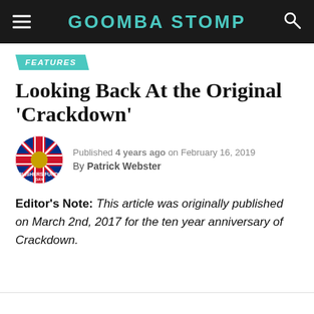GOOMBA STOMP
FEATURES
Looking Back At the Original 'Crackdown'
Published 4 years ago on February 16, 2019
By Patrick Webster
Editor's Note: This article was originally published on March 2nd, 2017 for the ten year anniversary of Crackdown.